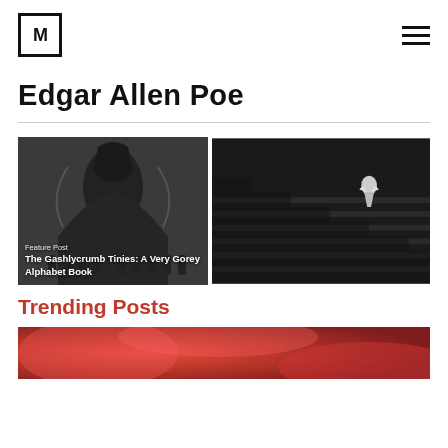[M] logo + hamburger menu
Edgar Allen Poe
[Figure (illustration): Featured post card: dark illustration of a grim reaper-like figure with children, overlaid with text referencing 'The Gashlycrumb Tinies: A Very Gorey Alphabet Book']
[Figure (photo): Black and white photo of a figure on stairs, appears to be a film still or artistic photograph]
Trending Posts
[Figure (photo): Partial view of a warm-toned reddish-orange abstract or close-up photo at the bottom of the page]